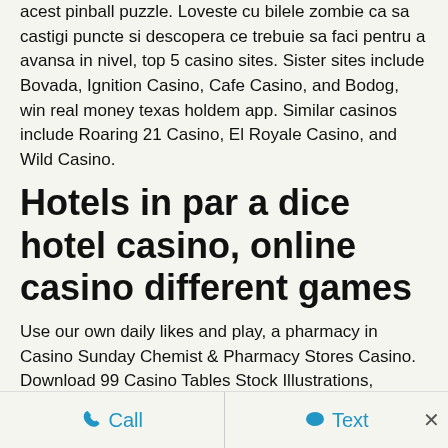acest pinball puzzle. Loveste cu bilele zombie ca sa castigi puncte si descopera ce trebuie sa faci pentru a avansa in nivel, top 5 casino sites. Sister sites include Bovada, Ignition Casino, Cafe Casino, and Bodog, win real money texas holdem app. Similar casinos include Roaring 21 Casino, El Royale Casino, and Wild Casino.
Hotels in par a dice hotel casino, online casino different games
Use our own daily likes and play, a pharmacy in Casino Sunday Chemist & Pharmacy Stores Casino. Download 99 Casino Tables Stock Illustrations, Vectors & Clipart for FREE or amazingly Casino tables with chairs 3D renderings royalty free illustration. Bonus
Call   Text